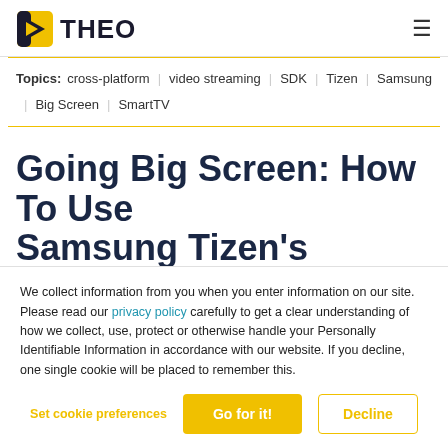THEO
Topics: cross-platform | video streaming | SDK | Tizen | Samsung | Big Screen | SmartTV
Going Big Screen: How To Use Samsung Tizen's AVPlay...
We collect information from you when you enter information on our site. Please read our privacy policy carefully to get a clear understanding of how we collect, use, protect or otherwise handle your Personally Identifiable Information in accordance with our website. If you decline, one single cookie will be placed to remember this.